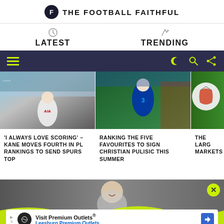THE FOOTBALL FAITHFUL
LATEST
TRENDING
[Figure (screenshot): Dark navy toolbar with yellow hamburger menu icon on left and yellow crescent moon, search, and share icons on right]
[Figure (photo): Harry Kane in white Tottenham AIA kit celebrating]
'I ALWAYS LOVE SCORING' – KANE MOVES FOURTH IN PL RANKINGS TO SEND SPURS TOP
[Figure (photo): Player in Chelsea blue kit with number 3 sponsor]
RANKING THE FIVE FAVOURITES TO SIGN CHRISTIAN PULISIC THIS SUMMER
[Figure (photo): Partially visible football/soccer ball on grass]
THE LARG MARKETS
[Figure (photo): Advertisement section with Harry Kane background image, yellow wave, close button, and Visit Premium Outlets ad banner]
Visit Premium Outlets®
Leesburg Premium Outlets